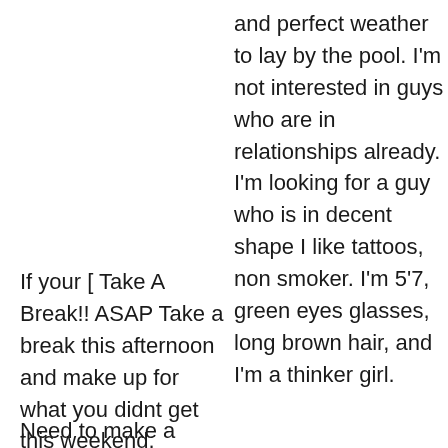and perfect weather to lay by the pool. I'm not interested in guys who are in relationships already. I'm looking for a guy who is in decent shape I like tattoos, non smoker. I'm 5'7, green eyes glasses, long brown hair, and I'm a thinker girl.
If your [ Take A Break!! ASAP Take a break this afternoon and make up for what you didnt get this weekend.
Need to make a break